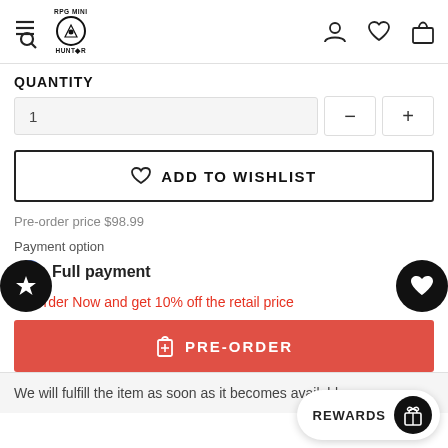RPG Mini Hunter
QUANTITY
1
ADD TO WISHLIST
Pre-order price $98.99
Payment option
Full payment
Preorder Now and get 10% off the retail price
PRE-ORDER
We will fulfill the item as soon as it becomes available
REWARDS